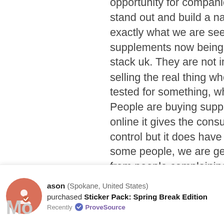opportunity for companies who want to stand out and build a name, and this is exactly what we are seeing from the supplements now being sold online, sarm stack uk. They are not in the physical shops selling the real thing where you can get tested for something, what are sarms uk. People are buying supplements online, online it gives the consumer this much more control but it does have some problems for some people, we are getting a lot of calls from people complaining about the quality of these supplements. The quality has been poor, people are complaining about the price, and that is a huge problem because as we all know, if you go into a bodybuilding, fitness, bodybuilding store and you see products that cost $10,000
ason (Spokane, United States) purchased Sticker Pack: Spring Break Edition Recently ProveSource